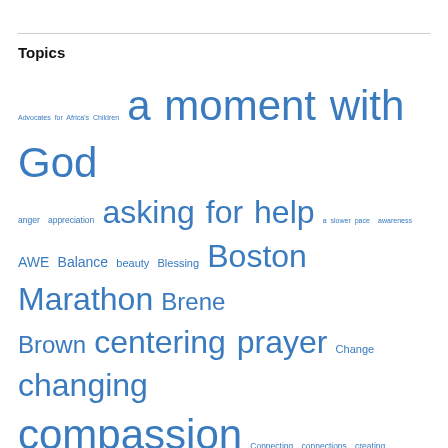Topics
[Figure (infographic): Tag/word cloud listing topics in various font sizes, all in blue: Advocates for Africa's Children, a moment with God, anger, appreciation, asking for help, a slower pace, awareness, AWE, Balance, beauty, Blessing, Boston Marathon, Brene Brown, centering prayer, Change, changing, compassion, Connecting, connections, creating, Daughters, Death, Diamond Head, effort, families, family visits, forgiveness, forgiving, Friends, gratitude, grief, growing, Hawaiian Islands, Ministries, healing, health, hearing with our hearts, helping, Holy Spirit, hope, humility, Joy, Kairos, Koko Crater]